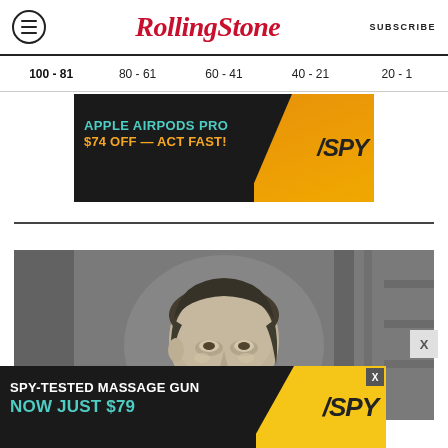Rolling Stone | SUBSCRIBE
100 - 81
80 - 61
60 - 41
40 - 21
20 - 1
[Figure (photo): Advertisement banner: APPLE AIRPODS PRO $74 OFF — ACT FAST! with SPY logo on dark background with orange accent]
[Figure (photo): Black and white photograph of a man with dark hair looking to the side]
[Figure (photo): Advertisement banner: SPY-TESTED MASSAGE GUN NOW JUST $79 with SPY logo on dark background with yellow accent]